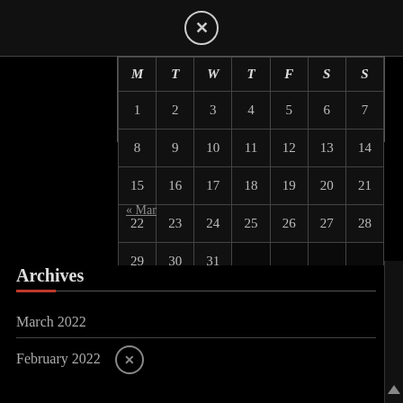[Figure (other): Close (X) button icon in circle at top center of panel]
| M | T | W | T | F | S | S |
| --- | --- | --- | --- | --- | --- | --- |
| 1 | 2 | 3 | 4 | 5 | 6 | 7 |
| 8 | 9 | 10 | 11 | 12 | 13 | 14 |
| 15 | 16 | 17 | 18 | 19 | 20 | 21 |
| 22 | 23 | 24 | 25 | 26 | 27 | 28 |
| 29 | 30 | 31 |  |  |  |  |
« Mar
Archives
March 2022
February 2022